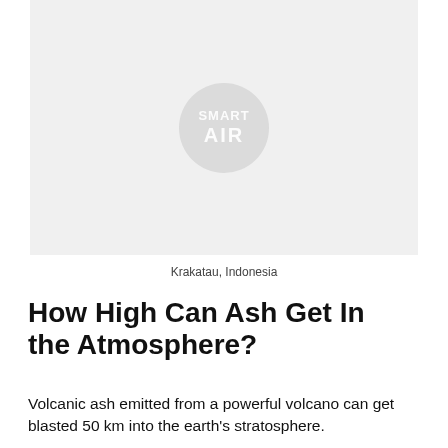[Figure (photo): A light grey rectangular image placeholder area with a faint circular watermark logo reading 'SMART AIR' in the center, representing a photo of Krakatau, Indonesia.]
Krakatau, Indonesia
How High Can Ash Get In the Atmosphere?
Volcanic ash emitted from a powerful volcano can get blasted 50 km into the earth's stratosphere.